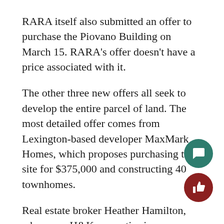RARA itself also submitted an offer to purchase the Piovano Building on March 15. RARA's offer doesn't have a price associated with it.
The other three new offers all seek to develop the entire parcel of land. The most detailed offer comes from Lexington-based developer MaxMark Homes, which proposes purchasing the site for $375,000 and constructing 40 townhomes.
Real estate broker Heather Hamilton, who owns H&K properties in Lexington, said the townhomes are “more in line with what the Lexington-area housing market desperately needs.”
“We don’t have the industry or work to support bedroom apartments in the $1200-$1800 range,” Hamilton said at the March 18 meeting. “There are not 90-plus new $60,000 jobs coming to the area.